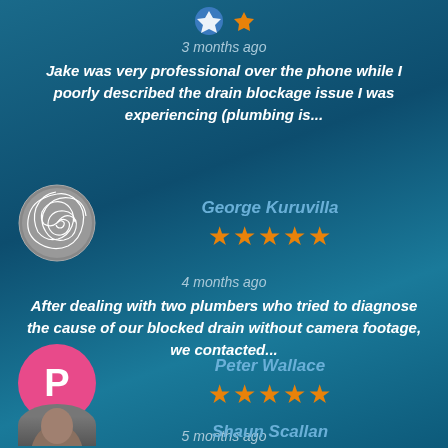3 months ago
Jake was very professional over the phone while I poorly described the drain blockage issue I was experiencing (plumbing is...
[Figure (other): Reviewer avatar - spiral nautilus shell design in grey on dark background]
George Kuruvilla
★★★★★ (5 stars)
4 months ago
After dealing with two plumbers who tried to diagnose the cause of our blocked drain without camera footage, we contacted...
[Figure (other): Reviewer avatar - pink circle with letter P]
Peter Wallace
★★★★★ (5 stars)
5 months ago
We have experienced great service from Blocked Drain Plumbers over the years, and thanks Matt for being prompt to clear...
Shaun Scallan